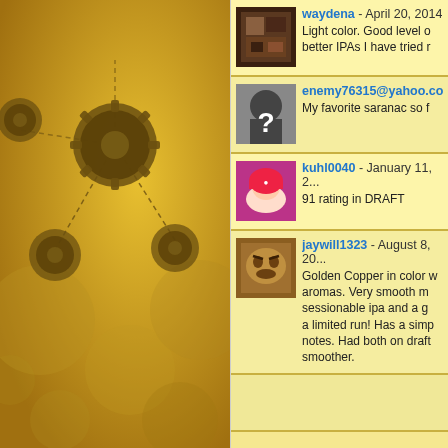[Figure (illustration): Golden/yellow background with decorative beer bottle cap network/graph diagram in dark olive/brown. Multiple circular gear-like nodes connected by dashed lines, with hexagonal honeycomb pattern circles in background.]
waydena - April 20, 2014
Light color. Good level o... better IPAs I have tried r...
enemy76315@yahoo.com
My favorite saranac so f...
kuhl0040 - January 11, 2...
91 rating in DRAFT
jaywill1323 - August 8, 20...
Golden Copper in color w... aromas. Very smooth m... sessionable ipa and a g... a limited run! Has a simp... notes. Had both on draft... smoother.